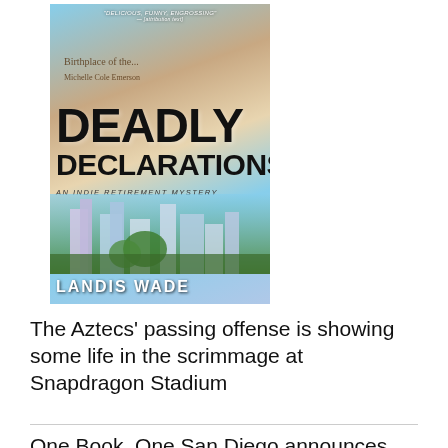[Figure (illustration): Book cover for 'Deadly Declarations: An Indie Retirement Mystery' by Landis Wade. Features bold black title text over a background with cityscape, clouds, and warm/cool color gradient. Author name at bottom.]
The Aztecs' passing offense is showing some life in the scrimmage at Snapdragon Stadium
One Book, One San Diego announces